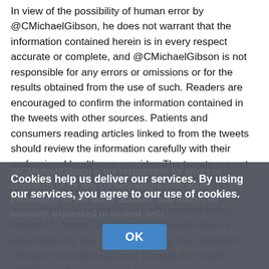In view of the possibility of human error by @CMichaelGibson, he does not warrant that the information contained herein is in every respect accurate or complete, and @CMichaelGibson is not responsible for any errors or omissions or for the results obtained from the use of such. Readers are encouraged to confirm the information contained in the tweets with other sources. Patients and consumers reading articles linked to from the tweets should review the information carefully with their professional healthcare provider. The tweets are not intended to replace medical advice offered by physicians. @CMichaelGibson makes no representations or warranties with respect to any treatment, action, or application of medication or preparation by any person following the information offered or provided within or through the tweets. @CMichaelGibson is not be liable for any direct, indirect, consequential, special, exemplary, or other damages arising there from.
Cookies help us deliver our services. By using our services, you agree to our use of cookies.
@CMichaelGibson is not responsible for errors or omissions or for any consequences from applying the information on the twitter account, and makes no warranty, expressed or implied, with